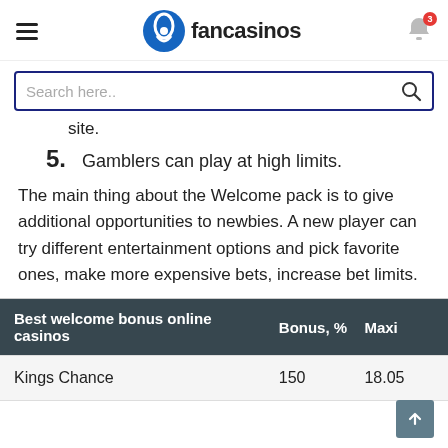fancasinos
site.
5. Gamblers can play at high limits.
The main thing about the Welcome pack is to give additional opportunities to newbies. A new player can try different entertainment options and pick favorite ones, make more expensive bets, increase bet limits.
| Best welcome bonus online casinos | Bonus, % | Maxi |
| --- | --- | --- |
| Kings Chance | 150 | 18.05 |